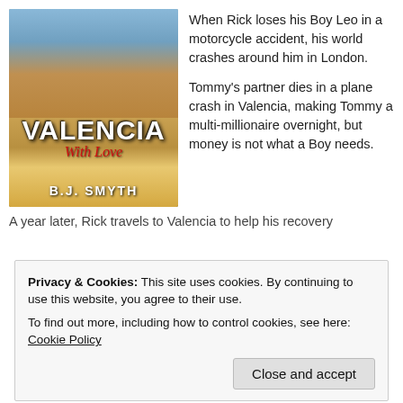[Figure (illustration): Book cover for 'Valencia With Love' by B.J. Smyth, showing a shirtless man on a beach, with the title in large white block letters and 'With Love' in red script.]
When Rick loses his Boy Leo in a motorcycle accident, his world crashes around him in London.

Tommy's partner dies in a plane crash in Valencia, making Tommy a multi-millionaire overnight, but money is not what a Boy needs.
A year later, Rick travels to Valencia to help his recovery
Privacy & Cookies: This site uses cookies. By continuing to use this website, you agree to their use.
To find out more, including how to control cookies, see here: Cookie Policy
Close and accept